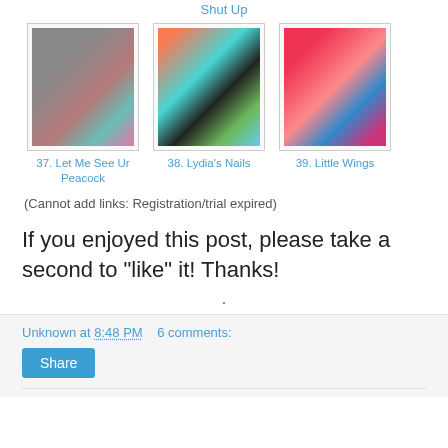Shut Up
[Figure (photo): Thumbnail photo of nail art - peacock design with teal and pink stripes on grey nails]
37. Let Me See Ur Peacock
[Figure (photo): Thumbnail photo of nail art - colorful nails with black leaf/feather design]
38. Lydia's Nails
[Figure (photo): Thumbnail photo of nail art - red/pink nails with blue swirl design]
39. Little Wings
(Cannot add links: Registration/trial expired)
If you enjoyed this post, please take a second to "like" it! Thanks!
.
Unknown at 8:48 PM   6 comments:
Share